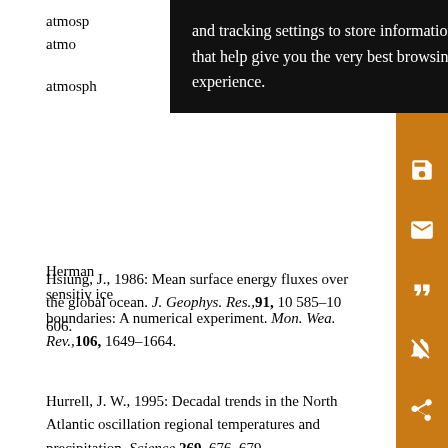atmosphere…ice boundaries: A numerical experiment. Mon. Wea. Rev.,106, 1649–1664.
Hsiung, J., 1986: Mean surface energy fluxes over the global ocean. J. Geophys. Res.,91, 10 585–10 606.
Hurrell, J. W., 1995: Decadal trends in the North Atlantic oscillation regional temperatures and precipitation. Science,269, 676–679.
——, 1996: Influence of variations in extratropical…